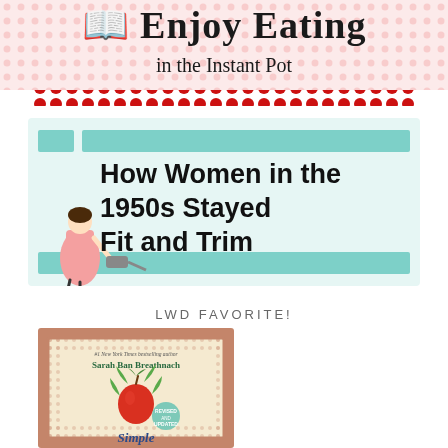[Figure (illustration): Blog header banner with decorative pink polka-dot background showing cursive script text partially visible at top, subtitle 'in the Instant Pot', and a red dotted divider bar below]
[Figure (illustration): Article preview card with teal/mint background, teal horizontal bars at top and bottom corners, small illustrated woman in pink dress on left, bold text reading 'How Women in the 1950s Stayed Fit and Trim']
LWD FAVORITE!
[Figure (photo): Book cover of 'Simple Abundance' by Sarah Ban Breathnach, #1 New York Times bestselling author, showing botanical illustration of apple branch with leaves on cream/tan background with terracotta decorative border, marked 'Revised and Updated']